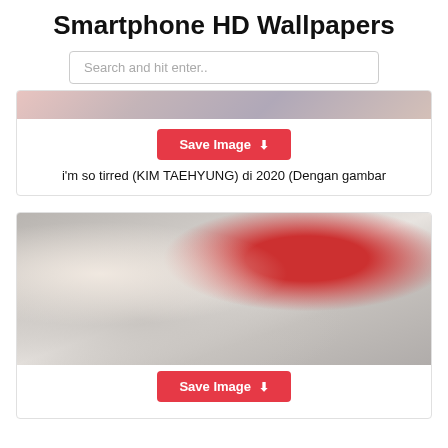Smartphone HD Wallpapers
Search and hit enter..
[Figure (photo): Partial top edge of a photo showing people, cropped at top of card]
Save Image
i'm so tirred (KIM TAEHYUNG) di 2020 (Dengan gambar
[Figure (photo): Photo of K-pop group members smiling, one with white/silver hair wearing plaid, another with dark hair, red jacket visible in background]
Save Image